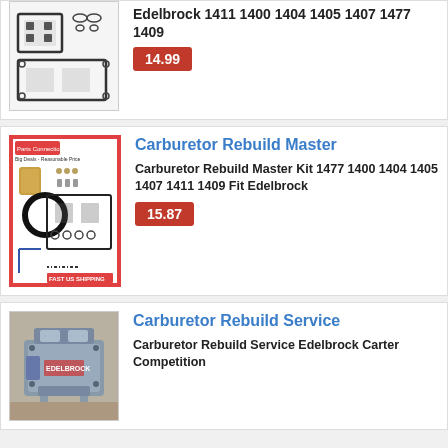[Figure (photo): Carburetor gasket rebuild kit components on white background - shows flat gaskets and small parts]
Edelbrock 1411 1400 1404 1405 1407 1477 1409
14.99
[Figure (photo): Carburetor rebuild master kit with red border - shows float bowls, gaskets, O-ring, and hardware on white background with FAST US SHIPPING label]
Carburetor Rebuild Master
Carburetor Rebuild Master Kit 1477 1400 1404 1405 1407 1411 1409 Fit Edelbrock
15.87
[Figure (photo): Carburetor Rebuild Service - photo of an actual carburetor unit on wooden surface]
Carburetor Rebuild Service
Carburetor Rebuild Service Edelbrock Carter Competition